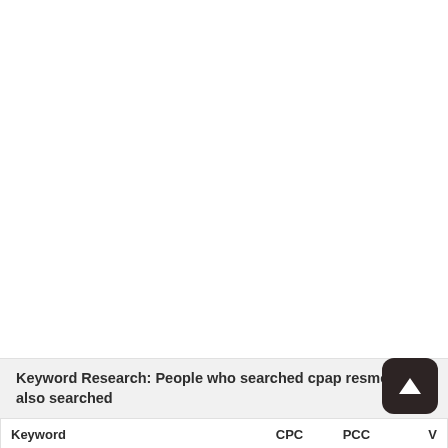Keyword Research: People who searched cpap resmed mini also searched
| Keyword | CPC | PCC | V |
| --- | --- | --- | --- |